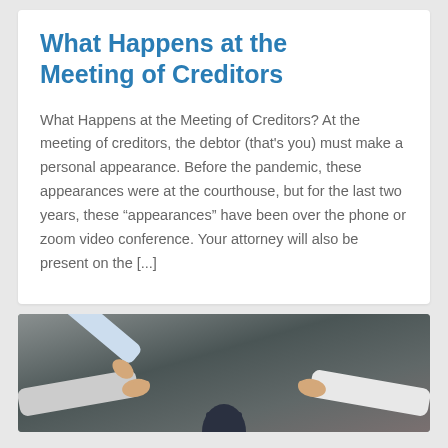What Happens at the Meeting of Creditors
What Happens at the Meeting of Creditors? At the meeting of creditors, the debtor (that’s you) must make a personal appearance. Before the pandemic, these appearances were at the courthouse, but for the last two years, these “appearances” have been over the phone or zoom video conference. Your attorney will also be present on the [...]
[Figure (photo): Photo of people pointing fingers at a person in the center, depicting a meeting of creditors scenario]